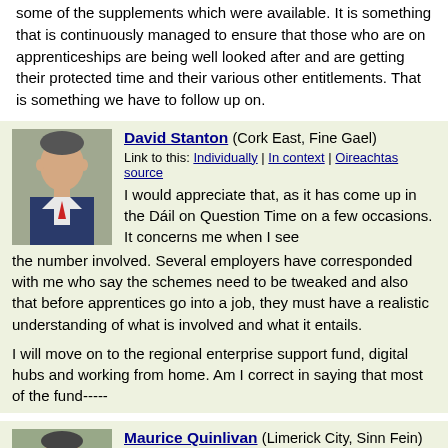some of the supplements which were available. It is something that is continuously managed to ensure that those who are on apprenticeships are being well looked after and are getting their protected time and their various other entitlements. That is something we have to follow up on.
David Stanton (Cork East, Fine Gael)
Link to this: Individually | In context | Oireachtas source
I would appreciate that, as it has come up in the Dáil on Question Time on a few occasions. It concerns me when I see the number involved. Several employers have corresponded with me who say the schemes need to be tweaked and also that before apprentices go into a job, they must have a realistic understanding of what is involved and what it entails.
I will move on to the regional enterprise support fund, digital hubs and working from home. Am I correct in saying that most of the fund-----
Maurice Quinlivan (Limerick City, Sinn Fein)
Link to this: Individually | In context | Oireachtas source
The Deputy's time is up.
David Stanton (Cork East, Fine Gael)
Link to this: Individually | In context | Oireachtas source
Can I come back in again?